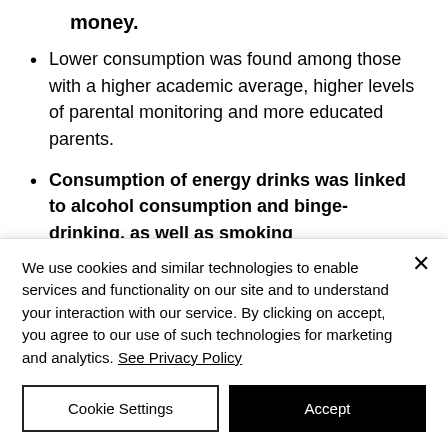money.
Lower consumption was found among those with a higher academic average, higher levels of parental monitoring and more educated parents.
Consumption of energy drinks was linked to alcohol consumption and binge-drinking, as well as smoking
We use cookies and similar technologies to enable services and functionality on our site and to understand your interaction with our service. By clicking on accept, you agree to our use of such technologies for marketing and analytics. See Privacy Policy
Cookie Settings
Accept